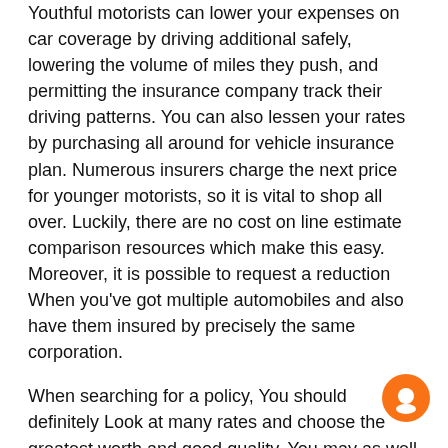Youthful motorists can lower your expenses on car coverage by driving additional safely, lowering the volume of miles they push, and permitting the insurance company track their driving patterns. You can also lessen your rates by purchasing all around for vehicle insurance plan. Numerous insurers charge the next price for younger motorists, so it is vital to shop all over. Luckily, there are no cost on line estimate comparison resources which make this easy. Moreover, it is possible to request a reduction When you've got multiple automobiles and also have them insured by precisely the same corporation.
When searching for a policy, You should definitely Look at many rates and choose the greatest worth and good quality. You may as well try to look for an insurance policy agent who will grow along with you, letting you to generate changes as your driving historical past modifications. Be sure you Evaluate guidelines which offer identical sorts of protection, as deductibles and limitations may make a major variation. In case you are a youthful driver It's also wise to